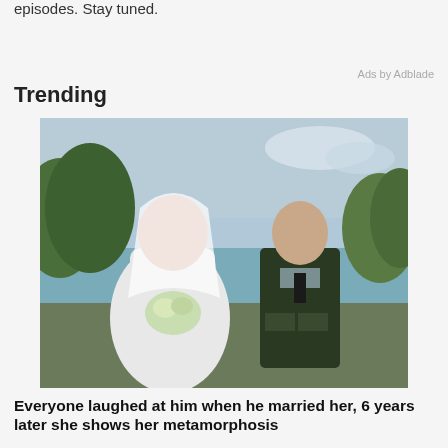episodes. Stay tuned.
Ads by Adblade
Trending
[Figure (photo): Wedding photo of a bride in white dress and veil holding white flowers, standing next to a groom in a dark military uniform, outdoors near a lake with trees in background.]
Everyone laughed at him when he married her, 6 years later she shows her metamorphosis
Tips and Tricks
[Figure (photo): Black and white vintage photos of two children outdoors.]